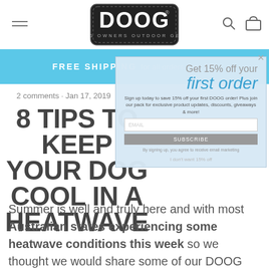[Figure (logo): DOOG - Dog Owners Outdoor Gear logo on dark rounded rectangle with stitched border]
FREE SHIPPING for all orders over $50
Get 15% off your first order
Sign up today to save 15% off your first DOOG order! Plus join our pack for exclusive product updates, discounts, giveaways & more!
I don't want 15% off
2 comments · Jan 17, 2019
8 TIPS TO KEEP YOUR DOG COOL IN A HEATWAVE
Summer is well and truly here and with most Australian states experiencing some heatwave conditions this week so we thought we would share some of our DOOG tips to help keep your